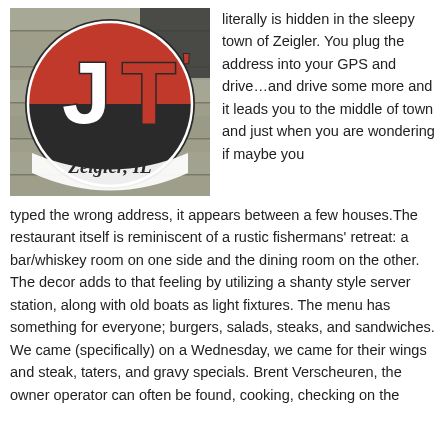[Figure (photo): Sign for JT's restaurant in Zeigler, IL — painted circular logo on weathered wood planks with 'JT' in large red and black lettering and 'Zeigler, IL' in white cursive below]
literally is hidden in the sleepy town of Zeigler. You plug the address into your GPS and drive…and drive some more and it leads you to the middle of town and just when you are wondering if maybe you typed the wrong address, it appears between a few houses.The restaurant itself is reminiscent of a rustic fishermans' retreat: a bar/whiskey room on one side and the dining room on the other. The decor adds to that feeling by utilizing a shanty style server station, along with old boats as light fixtures. The menu has something for everyone; burgers, salads, steaks, and sandwiches. We came (specifically) on a Wednesday, we came for their wings and steak, taters, and gravy specials. Brent Verscheuren, the owner operator can often be found, cooking, checking on the